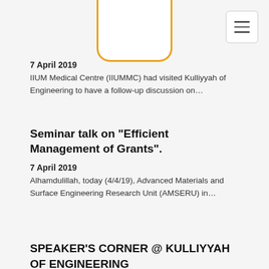[Figure (logo): Orange rounded rectangle logo box at top center, white background]
7 April 2019
IIUM Medical Centre (IIUMMC) had visited Kulliyyah of Engineering to have a follow-up discussion on…
Seminar talk on "Efficient Management of Grants".
7 April 2019
Alhamdulillah, today (4/4/19), Advanced Materials and Surface Engineering Research Unit (AMSERU) in…
SPEAKER'S CORNER @ KULLIYYAH OF ENGINEERING